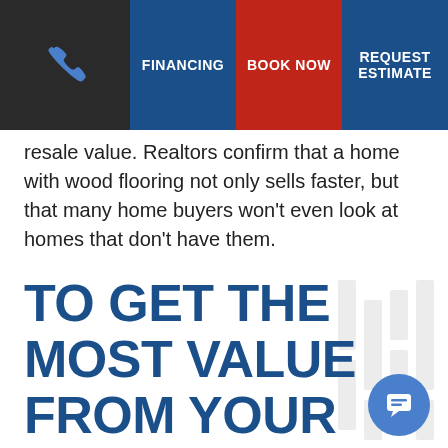FINANCING | BOOK NOW | REQUEST ESTIMATE
resale value. Realtors confirm that a home with wood flooring not only sells faster, but that many home buyers won't even look at homes that don't have them.
TO GET THE MOST VALUE FROM YOUR WOOD FLOORS, PROPER INSTALLATION IS IMPORTANT. LET THE EXPERT TEAM AT SVB GET THE JOB DONE RIGHT.